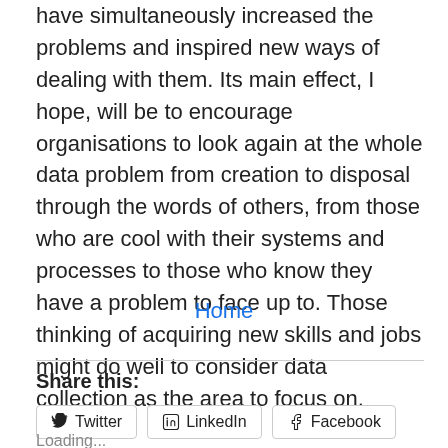have simultaneously increased the problems and inspired new ways of dealing with them. Its main effect, I hope, will be to encourage organisations to look again at the whole data problem from creation to disposal through the words of others, from those who are cool with their systems and processes to those who know they have a problem to face up to. Those thinking of acquiring new skills and jobs might do well to consider data collection as the area to focus on.
Home
Share this:
Twitter
LinkedIn
Facebook
Loading...